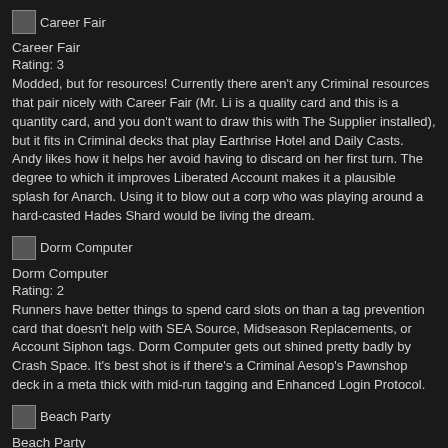[Figure (illustration): Small card image icon for Career Fair]
Career Fair
Rating: 3
Modded, but for resources! Currently there aren't any Criminal resources that pair nicely with Career Fair (Mr. Li is a quality card and this is a quantity card, and you don't want to draw this with The Supplier installed), but it fits in Criminal decks that play Earthrise Hotel and Daily Casts. Andy likes how it helps her avoid having to discard on her first turn. The degree to which it improves Liberated Account makes it a plausible splash for Anarch. Using it to blow out a corp who was playing around a hard-casted Hades Shard would be living the dream.
[Figure (illustration): Small card image icon for Dorm Computer]
Dorm Computer
Rating: 2
Runners have better things to spend card slots on than a tag prevention card that doesn't help with SEA Source, Midseason Replacements, or Account Siphon tags. Dorm Computer gets out shined pretty badly by Crash Space. It's best shot is if there's a Criminal Aesop's Pawnshop deck in a meta thick with mid-run tagging and Enhanced Login Protocol.
[Figure (illustration): Small card image icon for Beach Party]
Beach Party
Rating: 1
If I'm losing a click a turn, I had better be getting something amazing in